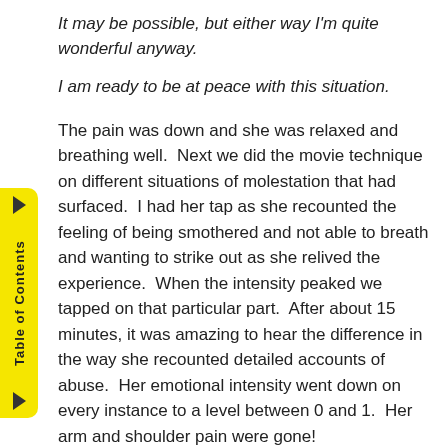It may be possible, but either way I'm quite wonderful anyway.
I am ready to be at peace with this situation.
The pain was down and she was relaxed and breathing well.  Next we did the movie technique on different situations of molestation that had surfaced.  I had her tap as she recounted the feeling of being smothered and not able to breath and wanting to strike out as she relived the experience.  When the intensity peaked we tapped on that particular part.  After about 15 minutes, it was amazing to hear the difference in the way she recounted detailed accounts of abuse.  Her emotional intensity went down on every instance to a level between 0 and 1.  Her arm and shoulder pain were gone!
In her next session she mentioned that she had not experienced any breathing problems, and could hardly